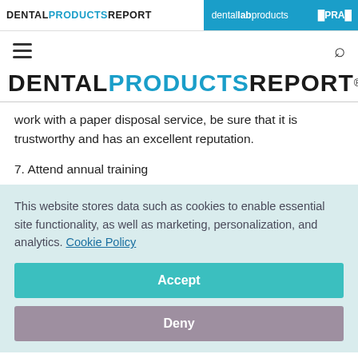DENTAL PRODUCTS REPORT | dental lab products | PRAC
work with a paper disposal service, be sure that it is trustworthy and has an excellent reputation.
7. Attend annual training
This website stores data such as cookies to enable essential site functionality, as well as marketing, personalization, and analytics. Cookie Policy
Accept
Deny